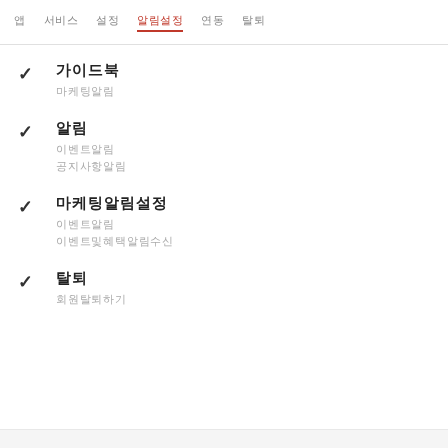앱 서비스 설정 알림설정 연동 탈퇴
가이드북
마케팅알림
알림
이벤트알림
공지사항알림
마케팅알림설정
이벤트알림
이벤트및혜택알림수신
탈퇴
회원탈퇴하기